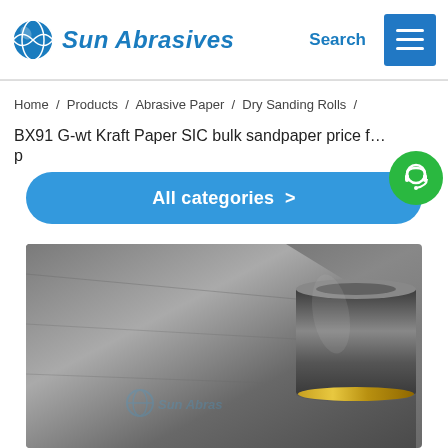Sun Abrasives | Search
Home / Products / Abrasive Paper / Dry Sanding Rolls /
BX91 G-wt Kraft Paper SIC bulk sandpaper price for Stainless-steel p…
All categories >
[Figure (photo): A roll of dark gray/black sandpaper partially unrolled, showing the abrasive side and the kraft paper backing. Sun Abrasives watermark visible on the image.]